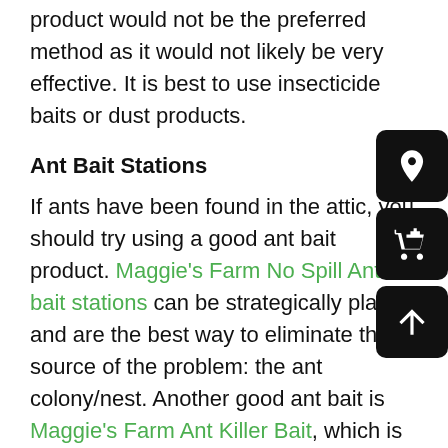product would not be the preferred method as it would not likely be very effective. It is best to use insecticide baits or dust products.
Ant Bait Stations
If ants have been found in the attic, you should try using a good ant bait product. Maggie's Farm No Spill Ant Kill bait stations can be strategically placed and are the best way to eliminate the source of the problem: the ant colony/nest. Another good ant bait is Maggie's Farm Ant Killer Bait, which is a thick syrup bait that comes in a small application tube. If you have ants nesting in your home or attic, this is the best way to get rid of them long term.
Use a Good Pest Control Dust
Insecticide dusts can be an effective product to use